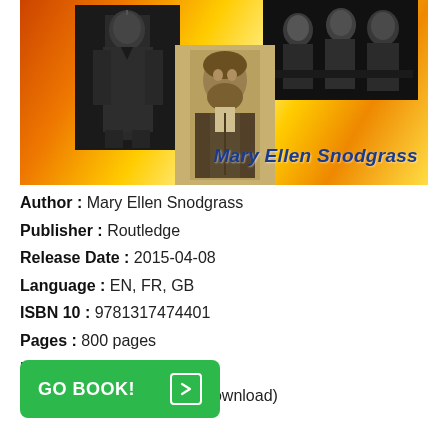[Figure (photo): Book cover collage with historical black-and-white portrait photographs on an orange/yellow diagonal striped background with author name 'Mary Ellen Snodgrass' in blue bold text]
Author : Mary Ellen Snodgrass
Publisher : Routledge
Release Date : 2015-04-08
Language : EN, FR, GB
ISBN 10 : 9781317474401
Pages : 800 pages
File : PDF, EPUB, or MOBI
Rating : 4.3/5 (174 users download)
GO BOOK!